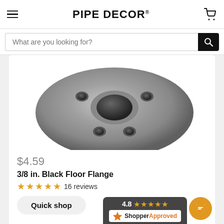PIPE DECOR®
What are you looking for?
[Figure (photo): Close-up photo of a 3/8 in. Black Floor Flange, showing a round metal flange with mounting holes, gray cast iron texture, viewed from above at an angle.]
$4.59
3/8 in. Black Floor Flange
★★★★★ 16 reviews
Quick shop
4.8 ★★★★★
ShopperApproved